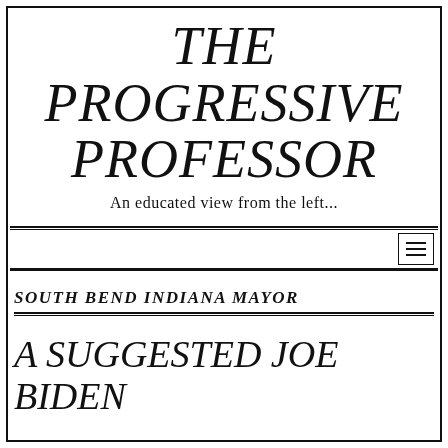THE PROGRESSIVE PROFESSOR
An educated view from the left...
SOUTH BEND INDIANA MAYOR
A SUGGESTED JOE BIDEN